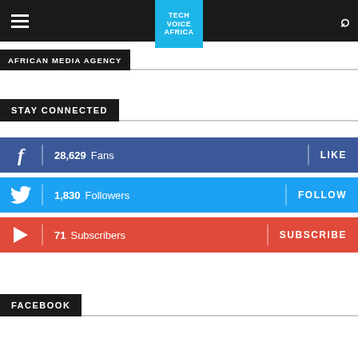Tech Voice Africa — navigation bar
AFRICAN MEDIA AGENCY
STAY CONNECTED
28,629 Fans  LIKE
1,830 Followers  FOLLOW
71 Subscribers  SUBSCRIBE
FACEBOOK